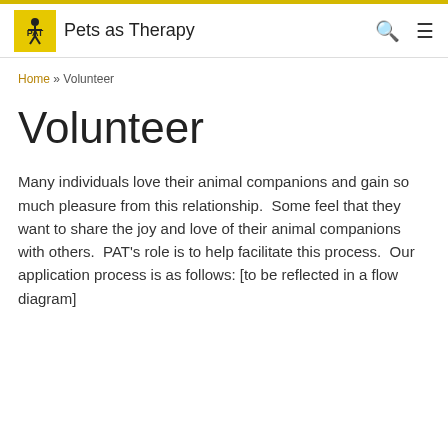Pets as Therapy
Home » Volunteer
Volunteer
Many individuals love their animal companions and gain so much pleasure from this relationship.  Some feel that they want to share the joy and love of their animal companions with others.  PAT's role is to help facilitate this process.  Our application process is as follows: [to be reflected in a flow diagram]